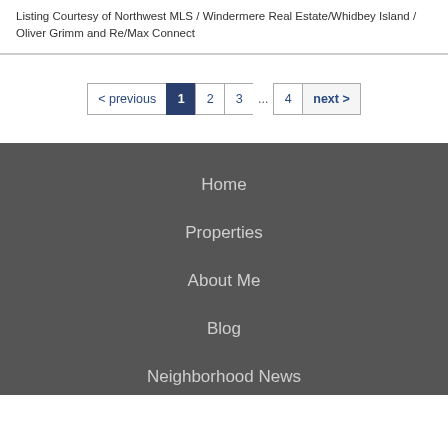Listing Courtesy of Northwest MLS / Windermere Real Estate/Whidbey Island / Oliver Grimm and Re/Max Connect
< previous  1  2  3  ...  4  next >
Home
Properties
About Me
Blog
Neighborhood News